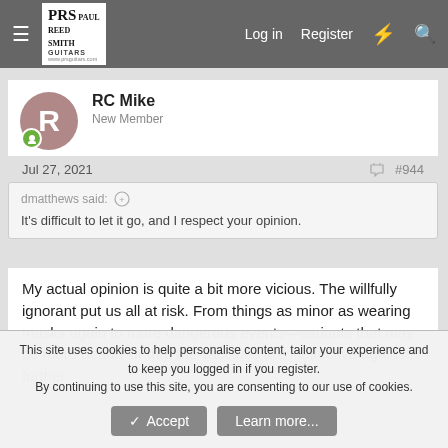PRS Paul Reed Smith Guitars | Log in | Register
RC Mike
New Member
Jul 27, 2021  #944
dmatthews said:
It's difficult to let it go, and I respect your opinion.
My actual opinion is quite a bit more vicious. The willfully ignorant put us all at risk. From things as minor as wearing masks again to more dangerous events—variants that may be more deadly or that the vaccines are ineffective against, further
This site uses cookies to help personalise content, tailor your experience and to keep you logged in if you register.
By continuing to use this site, you are consenting to our use of cookies.